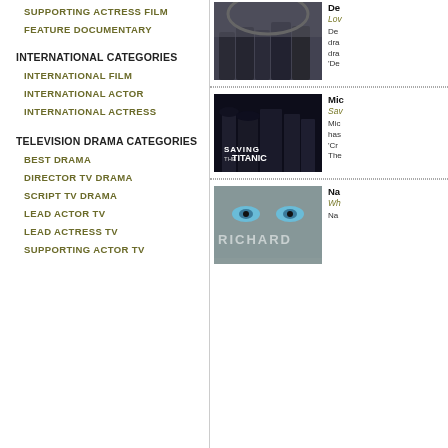SUPPORTING ACTRESS FILM
FEATURE DOCUMENTARY
INTERNATIONAL CATEGORIES
INTERNATIONAL FILM
INTERNATIONAL ACTOR
INTERNATIONAL ACTRESS
TELEVISION DRAMA CATEGORIES
BEST DRAMA
DIRECTOR TV DRAMA
SCRIPT TV DRAMA
LEAD ACTOR TV
LEAD ACTRESS TV
SUPPORTING ACTOR TV
[Figure (photo): Group of young men standing together outdoors, movie still]
De
Lov
De... dra... dra... 'De
[Figure (photo): Saving the Titanic movie still with men in military uniforms]
Mic
Sav
Mic has 'Cr The
[Figure (photo): Close up of person's eyes with RICHARD text overlay]
Na
Wh
Na